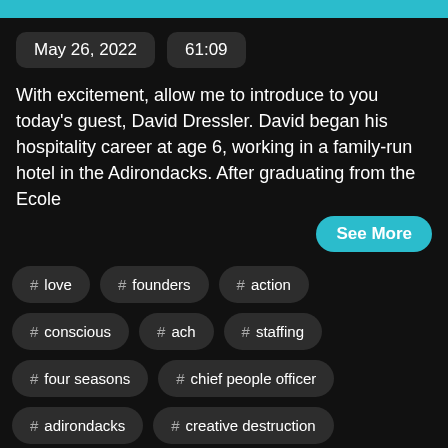May 26, 2022   61:09
With excitement, allow me to introduce to you today's guest, David Dressler. David began his hospitality career at age 6, working in a family-run hotel in the Adirondacks. After graduating from the Ecole
See More
# love
# founders
# action
# conscious
# ach
# staffing
# four seasons
# chief people officer
# adirondacks
# creative destruction
# fluctuating
# bento box